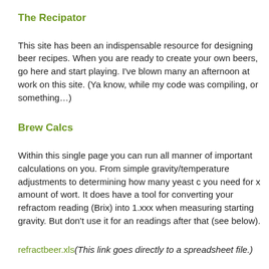The Recipator
This site has been an indispensable resource for designing beer recipes. When you are ready to create your own beers, go here and start playing. I've blown many an afternoon at work on this site. (Ya know, while my code was compiling, or something…)
Brew Calcs
Within this single page you can run all manner of important calculations on your beer. From simple gravity/temperature adjustments to determining how many yeast cells you need for x amount of wort. It does have a tool for converting your refractometer reading (Brix) into 1.xxx when measuring starting gravity. But don't use it for any readings after that (see below).
refractbeer.xls(This link goes directly to a spreadsheet file.)
This is an Excel spreadsheet served from morebeer.com that can be used to adjust refractometer readings after fermentation has begun. Because the presence of alcohol can affect the refractometer's ability to accurately measure sugars, some calculating has to be done to account for that. This spreadsheet is a vital tool for accurately interpreting refractometer readings on fermented wort.
After pulling my hair out trying to understand why my hydrometer and refracto...